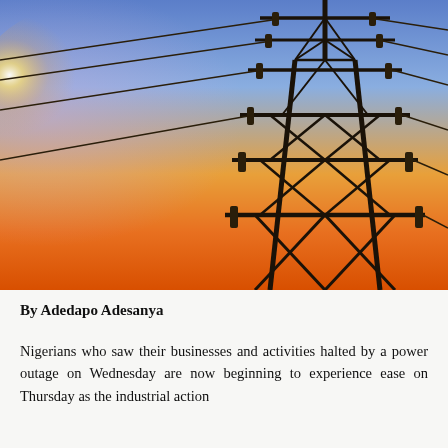[Figure (photo): A large electricity transmission pylon/tower silhouetted against a dramatic sunset sky with gradient from blue at top to orange and red at the bottom. High voltage power lines extend from the tower.]
By Adedapo Adesanya
Nigerians who saw their businesses and activities halted by a power outage on Wednesday are now beginning to experience ease on Thursday as the industrial action